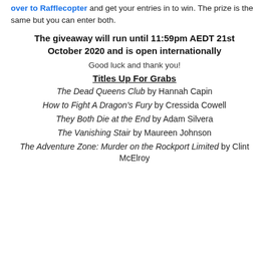over to Rafflecopter and get your entries in to win. The prize is the same but you can enter both.
The giveaway will run until 11:59pm AEDT 21st October 2020 and is open internationally
Good luck and thank you!
Titles Up For Grabs
The Dead Queens Club by Hannah Capin
How to Fight A Dragon's Fury by Cressida Cowell
They Both Die at the End by Adam Silvera
The Vanishing Stair by Maureen Johnson
The Adventure Zone: Murder on the Rockport Limited by Clint McElroy